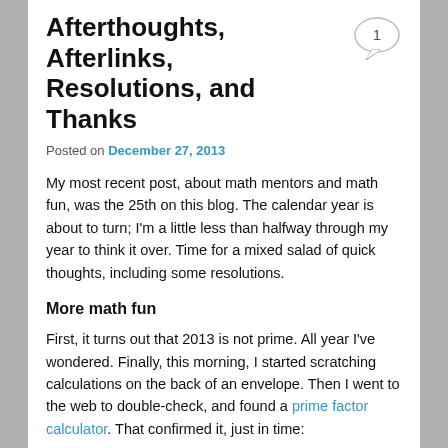Afterthoughts, Afterlinks, Resolutions, and Thanks
Posted on December 27, 2013
My most recent post, about math mentors and math fun, was the 25th on this blog. The calendar year is about to turn; I'm a little less than halfway through my year to think it over. Time for a mixed salad of quick thoughts, including some resolutions.
More math fun
First, it turns out that 2013 is not prime. All year I've wondered. Finally, this morning, I started scratching calculations on the back of an envelope. Then I went to the web to double-check, and found a prime factor calculator. That confirmed it, just in time:
[Figure (photo): Handwritten calculation on salmon/pink background showing: 2013 = 3 x 11 x 61]